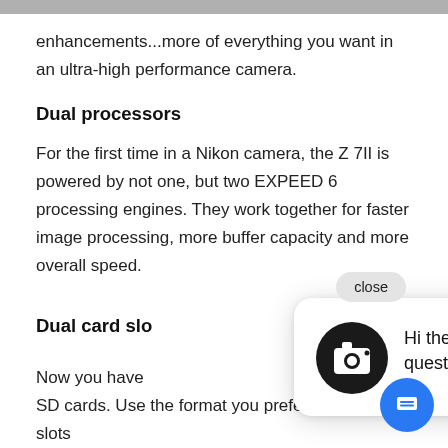enhancements...more of everything you want in an ultra-high performance camera.
Dual processors
For the first time in a Nikon camera, the Z 7II is powered by not one, but two EXPEED 6 processing engines. They work together for faster image processing, more buffer capacity and more overall speed.
Dual card slo
Now you have (Type B) and X SD cards. Use the format you prefer. Or use both slots and separate RAW and JPEG files, create a backup maximize your onboard storage.
[Figure (screenshot): Chat popup overlay with camera icon and message 'Hi there, have a question? Text us here!' and a close button and blue chat button]